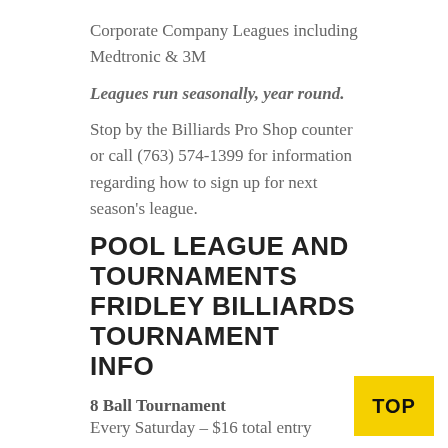Corporate Company Leagues including Medtronic & 3M
Leagues run seasonally, year round.
Stop by the Billiards Pro Shop counter or call (763) 574-1399 for information regarding how to sign up for next season's league.
POOL LEAGUE AND TOURNAMENTS FRIDLEY BILLIARDS TOURNAMENT INFO
8 Ball Tournament
Every Saturday – $16 total entry
9 Ball Tournament
Every Sunday – $16 total entry